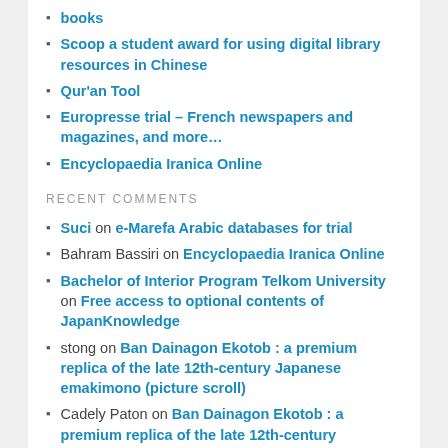books
Scoop a student award for using digital library resources in Chinese
Qur'an Tool
Europresse trial – French newspapers and magazines, and more…
Encyclopaedia Iranica Online
RECENT COMMENTS
Suci on e-Marefa Arabic databases for trial
Bahram Bassiri on Encyclopaedia Iranica Online
Bachelor of Interior Program Telkom University on Free access to optional contents of JapanKnowledge
stong on Ban Dainagon Ekotob : a premium replica of the late 12th-century Japanese emakimono (picture scroll)
Cadely Paton on Ban Dainagon Ekotob : a premium replica of the late 12th-century Japanese emakimono (picture scroll)
ARCHIVES